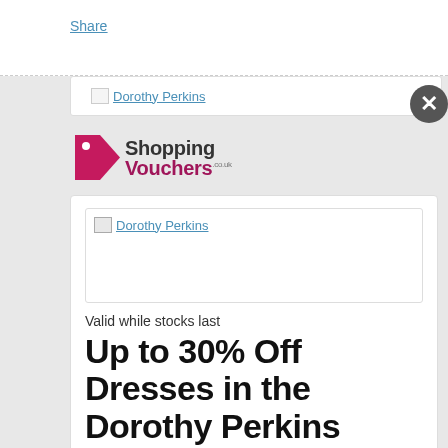Share
[Figure (logo): Shopping Vouchers logo with pink tag icon and text 'Shopping Vouchers .co.uk']
[Figure (screenshot): Dorothy Perkins image placeholder with broken image icon and link text 'Dorothy Perkins']
Valid while stocks last
Up to 30% Off Dresses in the Dorothy Perkins Fashion Pop